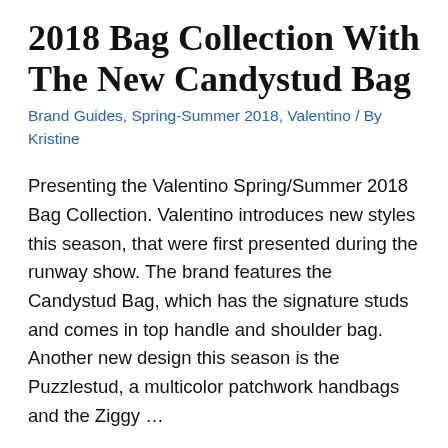2018 Bag Collection With The New Candystud Bag
Brand Guides, Spring-Summer 2018, Valentino / By Kristine
Presenting the Valentino Spring/Summer 2018 Bag Collection. Valentino introduces new styles this season, that were first presented during the runway show. The brand features the Candystud Bag, which has the signature studs and comes in top handle and shoulder bag. Another new design this season is the Puzzlestud, a multicolor patchwork handbags and the Ziggy …
Read More »